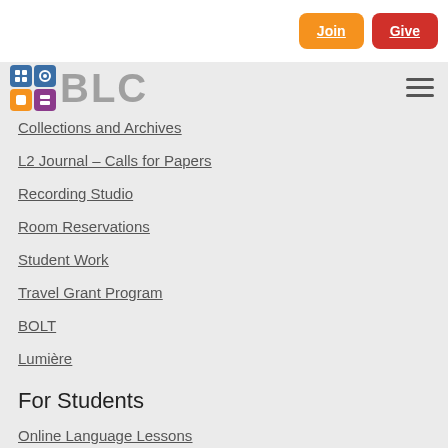Join | Give
[Figure (logo): BLC logo with colored icon grid and gray BLC text]
Collections and Archives
L2 Journal – Calls for Papers
Recording Studio
Room Reservations
Student Work
Travel Grant Program
BOLT
Lumière
For Students
Online Language Lessons
Languages at Berkeley
About
About the BLC
Greetings from the Director